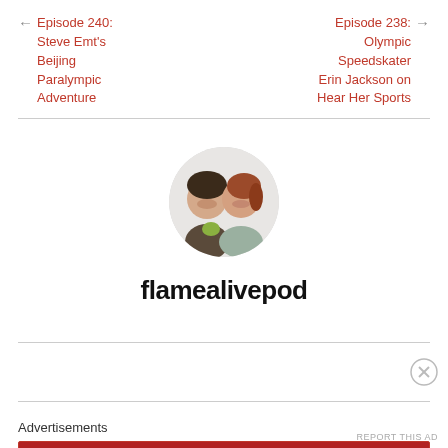← Episode 240: Steve Emt's Beijing Paralympic Adventure
Episode 238: Olympic Speedskater Erin Jackson on Hear Her Sports →
[Figure (photo): Circular profile photo of two women posing together against a light background]
flamealivepod
Advertisements
[Figure (other): Longreads advertisement banner: The best stories on the web — ours, and everyone else's.]